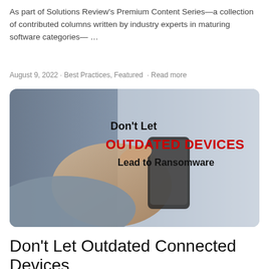As part of Solutions Review's Premium Content Series—a collection of contributed columns written by industry experts in maturing software categories— …
August 9, 2022 · Best Practices, Featured · Read more
[Figure (photo): Banner image showing hands holding a smartphone with overlaid text: Don't Let OUTDATED DEVICES Lead to Ransomware]
Don't Let Outdated Connected Devices